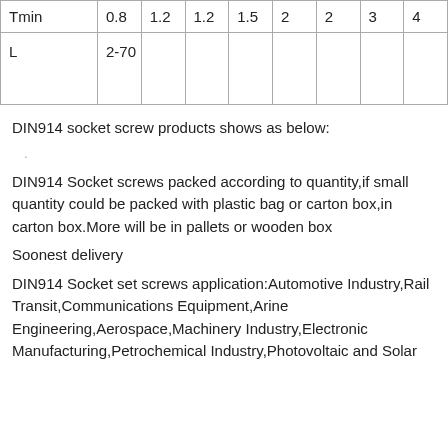|  | col1 | col2 | col3 | col4 | col5 | col6 | col7 | col8 |
| --- | --- | --- | --- | --- | --- | --- | --- | --- |
| Tmin | 0.8 | 1.2 | 1.2 | 1.5 | 2 | 2 | 3 | 4 |
| L | 2-70 |  |  |  |  |  |  |  |
DIN914 socket screw products shows as below:
DIN914 Socket screws packed according to quantity,if small quantity could be packed with plastic bag or carton box,in carton box.More will be in pallets or wooden box
Soonest delivery
DIN914 Socket set screws application:Automotive Industry,Rail Transit,Communications Equipment,Arine Engineering,Aerospace,Machinery Industry,Electronic Manufacturing,Petrochemical Industry,Photovoltaic and Solar